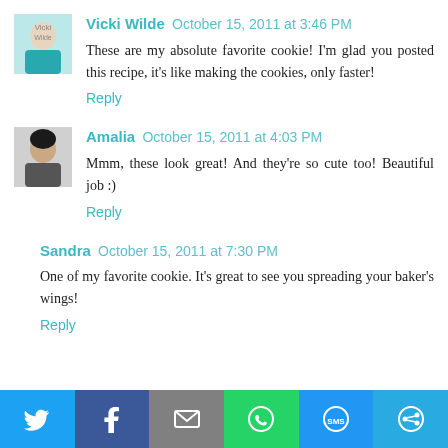Vicki Wilde  October 15, 2011 at 3:46 PM
These are my absolute favorite cookie! I'm glad you posted this recipe, it's like making the cookies, only faster!
Reply
Amalia  October 15, 2011 at 4:03 PM
Mmm, these look great! And they're so cute too! Beautiful job :)
Reply
Sandra  October 15, 2011 at 7:30 PM
One of my favorite cookie. It's great to see you spreading your baker's wings!
Reply
[Figure (infographic): Social sharing bar with Twitter, Facebook, Email, WhatsApp, SMS, and More buttons]